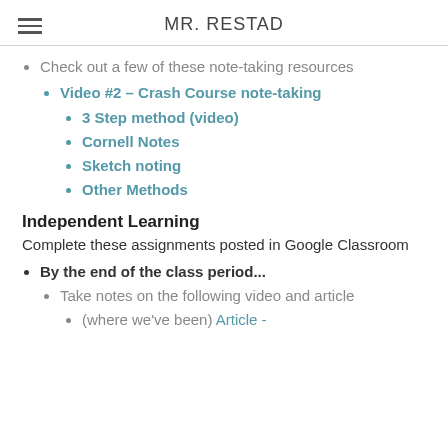MR. RESTAD
Check out a few of these note-taking resources
Video #2 – Crash Course note-taking
3 Step method (video)
Cornell Notes
Sketch noting
Other Methods
Independent Learning
Complete these assignments posted in Google Classroom
By the end of the class period...
Take notes on the following video and article
(where we've been) Article -